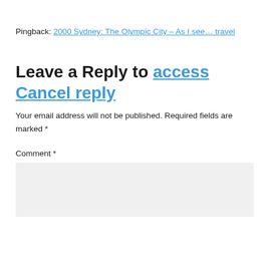Pingback: 2000 Sydney: The Olympic City – As I see… travel
Leave a Reply to access Cancel reply
Your email address will not be published. Required fields are marked *
Comment *